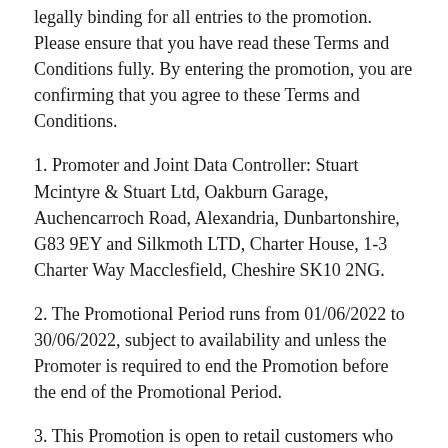legally binding for all entries to the promotion. Please ensure that you have read these Terms and Conditions fully. By entering the promotion, you are confirming that you agree to these Terms and Conditions.
1. Promoter and Joint Data Controller: Stuart Mcintyre & Stuart Ltd, Oakburn Garage, Auchencarroch Road, Alexandria, Dunbartonshire, G83 9EY and Silkmoth LTD, Charter House, 1-3 Charter Way Macclesfield, Cheshire SK10 2NG.
2. The Promotional Period runs from 01/06/2022 to 30/06/2022, subject to availability and unless the Promoter is required to end the Promotion before the end of the Promotional Period.
3. This Promotion is open to retail customers who are residents of Great Britain, Channel Islands and the Isle of Man. Participants must be aged 17+. Employees of Stuart Mcintyre & Stuart Ltd, Silkmoth and other associated agencies, their